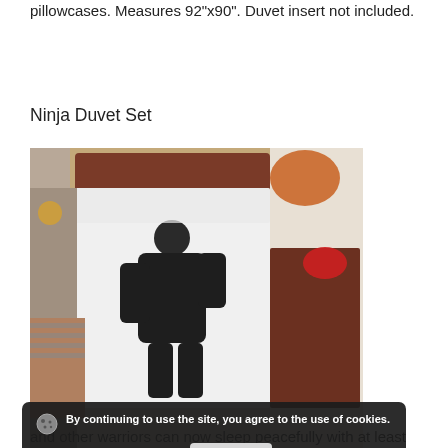pillowcases. Measures 92"x90". Duvet insert not included.
Ninja Duvet Set
[Figure (photo): Overhead view of a bedroom with a child lying on a bed with a ninja-printed duvet cover, surrounded by bedroom furniture and accessories. A cookie consent banner overlays the bottom portion of the image.]
Karate kids and other warriors can now sleep peacefully with at least